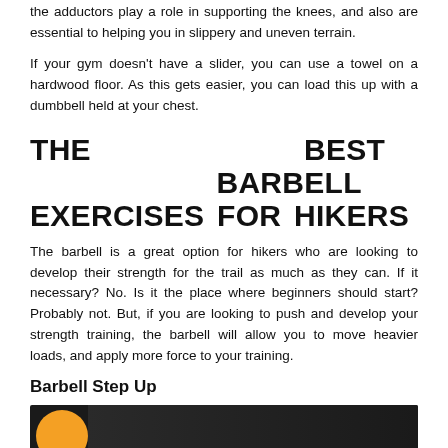the adductors play a role in supporting the knees, and also are essential to helping you in slippery and uneven terrain.
If your gym doesn't have a slider, you can use a towel on a hardwood floor. As this gets easier, you can load this up with a dumbbell held at your chest.
THE BEST BARBELL EXERCISES FOR HIKERS
The barbell is a great option for hikers who are looking to develop their strength for the trail as much as they can. If it necessary? No. Is it the place where beginners should start? Probably not. But, if you are looking to push and develop your strength training, the barbell will allow you to move heavier loads, and apply more force to your training.
Barbell Step Up
[Figure (screenshot): Video thumbnail showing a dark background with an orange circular play button icon on the left side]